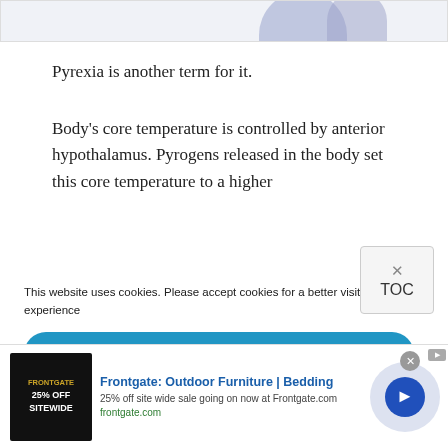[Figure (illustration): Top portion of an image strip with a purple/blue circular shape visible at the upper right corner, cropped at the top of the page]
Pyrexia is another term for it.
Body's core temperature is controlled by anterior hypothalamus. Pyrogens released in the body set this core temperature to a higher
This website uses cookies. Please accept cookies for a better visiting experience
[Figure (other): Blue ACCEPT button (cookie consent)]
[Figure (other): TOC button with X close icon in top right]
[Figure (other): Advertisement banner for Frontgate: Outdoor Furniture | Bedding - 25% off site wide sale going on now at Frontgate.com]